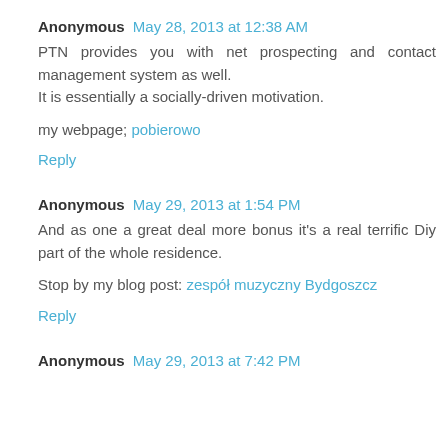Anonymous May 28, 2013 at 12:38 AM
PTN provides you with net prospecting and contact management system as well.
It is essentially a socially-driven motivation.

my webpage; pobierowo
Reply
Anonymous May 29, 2013 at 1:54 PM
And as one a great deal more bonus it's a real terrific Diy part of the whole residence.

Stop by my blog post: zespół muzyczny Bydgoszcz
Reply
Anonymous May 29, 2013 at 7:42 PM